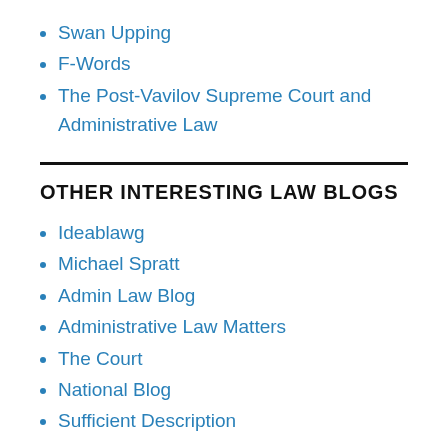Swan Upping
F-Words
The Post-Vavilov Supreme Court and Administrative Law
OTHER INTERESTING LAW BLOGS
Ideablawg
Michael Spratt
Admin Law Blog
Administrative Law Matters
The Court
National Blog
Sufficient Description